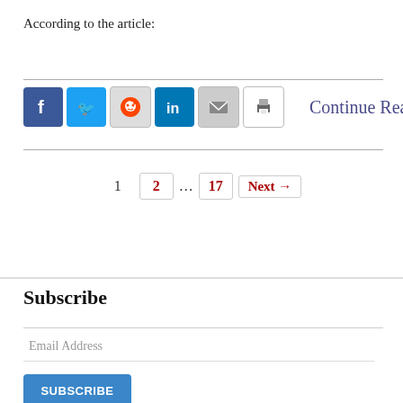According to the article:
[Figure (other): Social sharing icons (Facebook, Twitter, Reddit, LinkedIn, Email, Print) followed by 'Continue Reading' link]
1   2  ...  17   Next →
Subscribe
Email Address
SUBSCRIBE